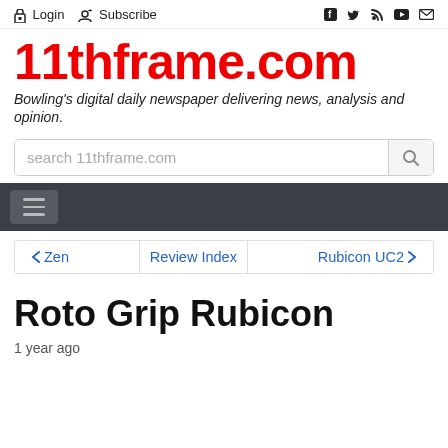Login  Subscribe  [social icons: Facebook, Twitter, RSS, YouTube, Email]
11thframe.com
Bowling's digital daily newspaper delivering news, analysis and opinion.
search 11thframe.com
≡ (hamburger menu)
← Zen   Review Index   Rubicon UC2 →
Roto Grip Rubicon
1 year ago